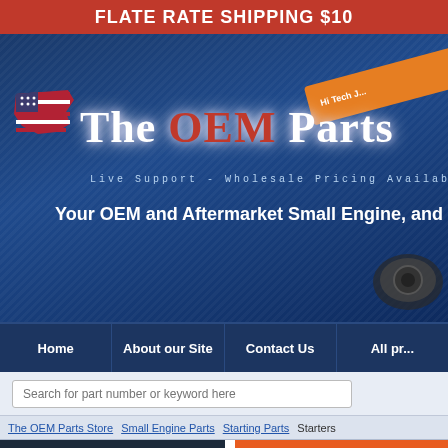FLATE RATE SHIPPING $10
[Figure (screenshot): The OEM Parts Store banner with USA map logo, blue diagonal-striped background, red and white title text reading 'The OEM Parts' and tagline 'Live Support - Wholesale Pricing Available' and 'Your OEM and Aftermarket Small Engine, and Tra...']
Home | About our Site | Contact Us | All pr...
Search for part number or keyword here
The OEM Parts Store > Small Engine Parts > Starting Parts > Starters
Overstock Specials
New Products
Lawn Mower Parts
Belts
Filters
STARTERS
Starters